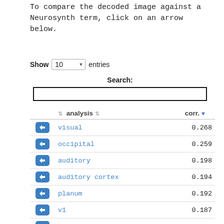To compare the decoded image against a Neurosynth term, click on an arrow below.
Show 10 entries
Search:
|  | analysis | corr. |
| --- | --- | --- |
| ← | visual | 0.268 |
| ← | occipital | 0.259 |
| ← | auditory | 0.198 |
| ← | auditory cortex | 0.194 |
| ← | planum | 0.192 |
| ← | v1 | 0.187 |
| ← | motion | 0.186 |
| ← | temporale | 0.184 |
| ← | planum temporale | 0.184 |